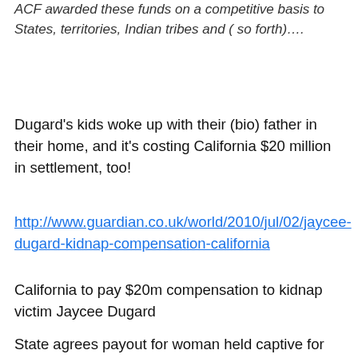ACF awarded these funds on a competitive basis to States, territories, Indian tribes and ( so forth)….
Dugard's kids woke up with their (bio) father in their home, and it's costing California $20 million in settlement, too!
http://www.guardian.co.uk/world/2010/jul/02/jaycee-dugard-kidnap-compensation-california
California to pay $20m compensation to kidnap victim Jaycee Dugard
State agrees payout for woman held captive for nearly 20 years by man parole officials were supposedly